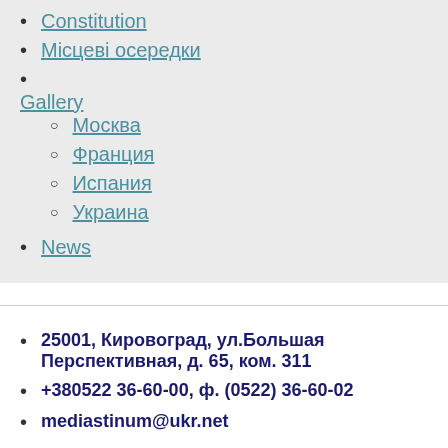Constitution
Місцеві осередки
Gallery
Москва
Франция
Испания
Украина
News
25001, Кировоград, ул.Большая Перспективная, д. 65, ком. 311
+380522 36-60-00, ф. (0522) 36-60-02
mediastinum@ukr.net